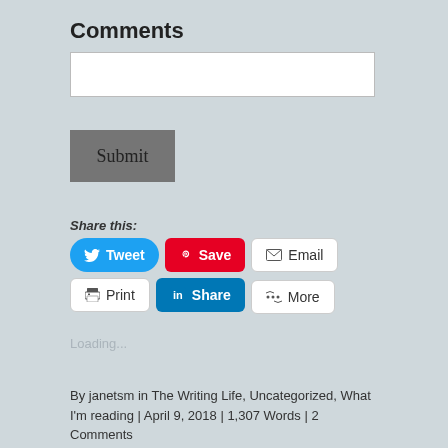Comments
[Figure (screenshot): Empty text input field (comment box), white background with border]
[Figure (screenshot): Submit button, dark gray background]
Share this:
[Figure (infographic): Social share buttons: Tweet (Twitter/blue), Save (Pinterest/red), Email, Print, Share (LinkedIn/blue), More]
Loading...
By janetsm in The Writing Life, Uncategorized, What I'm reading | April 9, 2018 | 1,307 Words | 2 Comments